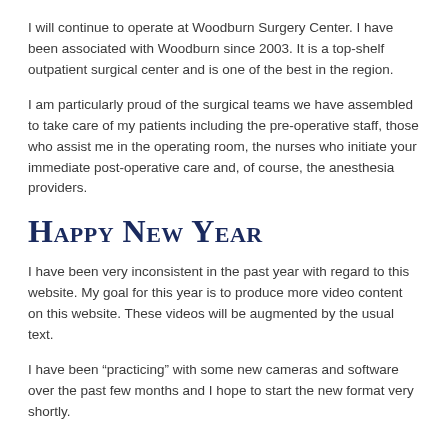I will continue to operate at Woodburn Surgery Center.  I have been associated with Woodburn since 2003.  It is a top-shelf outpatient surgical center and is one of the best in the region.
I am particularly proud of the surgical teams we have assembled to take care of my patients including the pre-operative staff, those who assist me in the operating room, the nurses who initiate your immediate post-operative care and, of course, the anesthesia providers.
Happy New Year
I have been very inconsistent in the past year with regard to this website.  My goal for this year is to produce more video content on this website.  These videos will be augmented by the usual text.
I have been “practicing” with some new cameras and software over the past few months and I hope to start the new format very shortly.